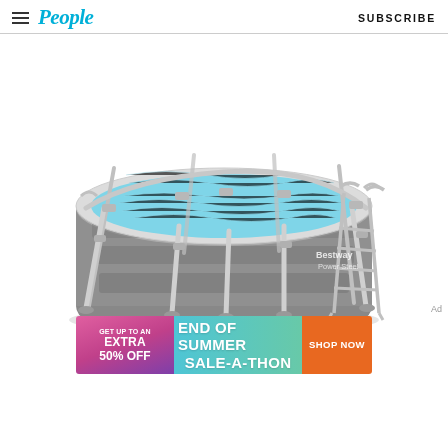People | SUBSCRIBE
[Figure (photo): Bestway Power Steel oval above-ground swimming pool with gray body, metal frame, ladder, and blue water visible from above at an angle]
[Figure (infographic): Advertisement banner: GET UP TO AN EXTRA 50% OFF | END OF SUMMER SALE-A-THON | SHOP NOW]